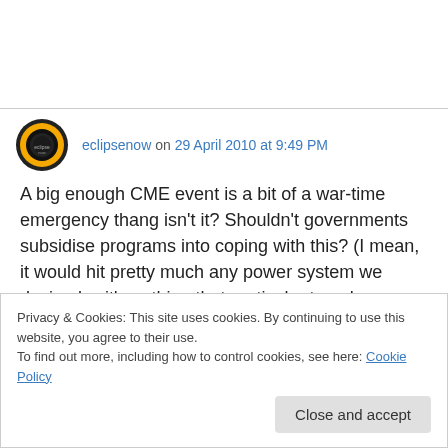eclipsenow on 29 April 2010 at 9:49 PM
A big enough CME event is a bit of a war-time emergency thang isn't it? Shouldn't governments subsidise programs into coping with this? (I mean, it would hit pretty much any power system we devised… it's nothing that particular to nukes
Privacy & Cookies: This site uses cookies. By continuing to use this website, you agree to their use.
To find out more, including how to control cookies, see here: Cookie Policy
Close and accept